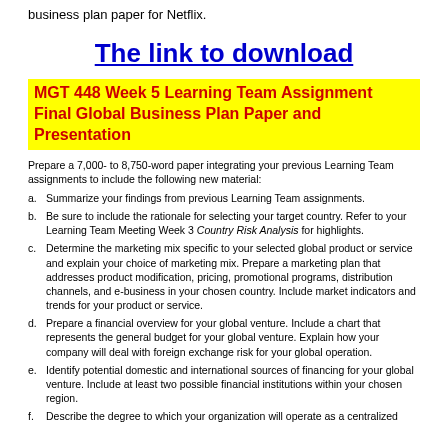business plan paper for Netflix.
The link to download
MGT 448 Week 5 Learning Team Assignment Final Global Business Plan Paper and Presentation
Prepare a 7,000- to 8,750-word paper integrating your previous Learning Team assignments to include the following new material:
a.  Summarize your findings from previous Learning Team assignments.
b.  Be sure to include the rationale for selecting your target country. Refer to your Learning Team Meeting Week 3 Country Risk Analysis for highlights.
c.  Determine the marketing mix specific to your selected global product or service and explain your choice of marketing mix. Prepare a marketing plan that addresses product modification, pricing, promotional programs, distribution channels, and e-business in your chosen country. Include market indicators and trends for your product or service.
d.  Prepare a financial overview for your global venture. Include a chart that represents the general budget for your global venture. Explain how your company will deal with foreign exchange risk for your global operation.
e.  Identify potential domestic and international sources of financing for your global venture. Include at least two possible financial institutions within your chosen region.
f.  Describe the degree to which your organization will operate as a centralized